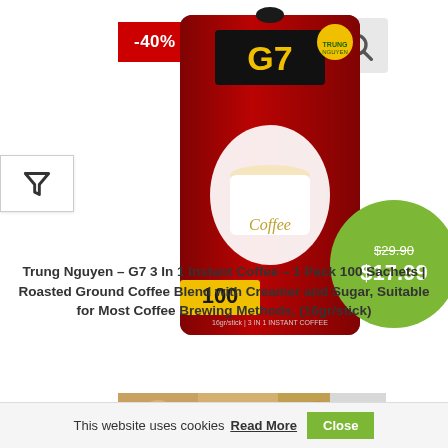[Figure (screenshot): G7 3-in-1 Instant Coffee product bag (red and black packaging with G7 logo, 100 sachets) shown on product listing page with -40% discount badge and price display]
$29.90 $17.99
Trung Nguyen – G7 3 In 1 Instant Coffee – 1 Pack 100 Sachets | Roasted Ground Coffee Blend with Creamer and Sugar, Suitable for Most Coffee Brewing Methods, (16gr/stick)
BUY NOW
[Figure (photo): Partial bottom product image showing food items]
This website uses cookies Read More Close